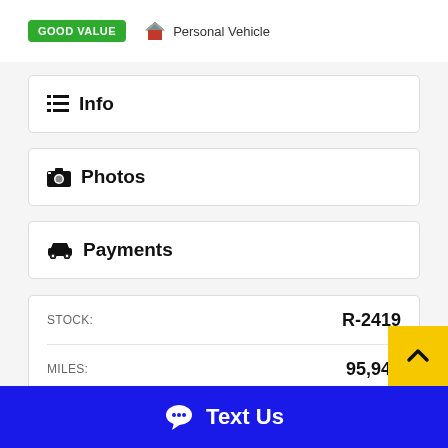[Figure (infographic): GOOD VALUE badge (green) and Personal Vehicle label with house icon]
Info
Photos
Payments
| Field | Value |
| --- | --- |
| STOCK: | R-2419 |
| MILES: | 95,948 |
| DRIVE TRAIN: | FWD |
Text Us